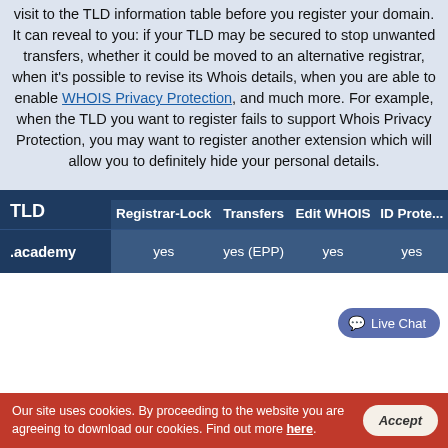visit to the TLD information table before you register your domain. It can reveal to you: if your TLD may be secured to stop unwanted transfers, whether it could be moved to an alternative registrar, when it's possible to revise its Whois details, when you are able to enable WHOIS Privacy Protection, and much more. For example, when the TLD you want to register fails to support Whois Privacy Protection, you may want to register another extension which will allow you to definitely hide your personal details.
| TLD | Registrar-Lock | Transfers | Edit WHOIS | ID Prote... |
| --- | --- | --- | --- | --- |
| .academy | yes | yes (EPP) | yes | yes |
Our site uses cookies. By proceeding to the website you are agreeing to download our cookies. Find out more here.